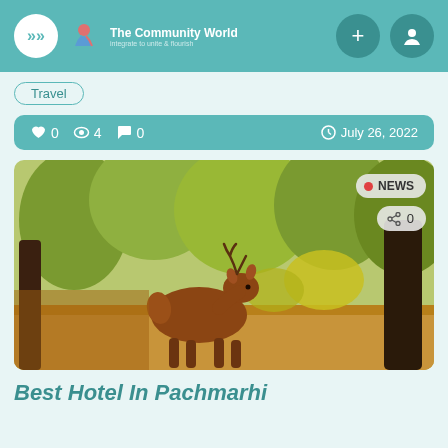The Community World — navigation bar with logo, plus and profile buttons
Travel
👍 0   👁 4   💬 0   🕐 July 26, 2022
[Figure (photo): A deer standing in a forest with trees and yellow-green foliage in the background. In the upper right corner there are two badges: a NEWS badge with a red dot, and a share badge showing 0.]
Best Hotel In Pachmarhi